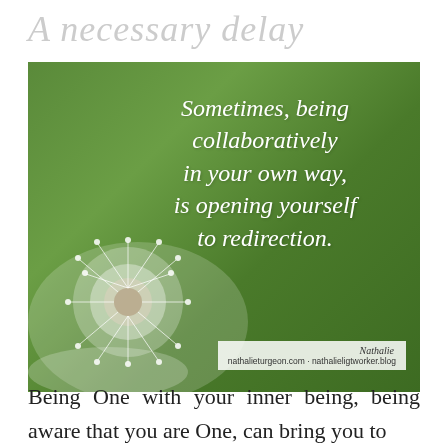A necessary delay
[Figure (photo): Dandelion with green bokeh background and overlaid quote text: 'Sometimes, being collaboratively in your own way, is opening yourself to redirection.' with attribution to Nathalie, nathalieturgeon.com · nathalieligtworker.blog]
Being One with your inner being, being aware that you are One, can bring you to